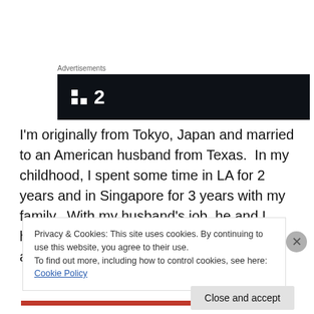Advertisements
[Figure (logo): Dark banner advertisement with white logo consisting of two squares and the number 2]
I'm originally from Tokyo, Japan and married to an American husband from Texas.  In my childhood, I spent some time in LA for 2 years and in Singapore for 3 years with my family.  With my husband's job, he and I have lived in Dakar, Senegal (West Africa) and Okinawa,
Privacy & Cookies: This site uses cookies. By continuing to use this website, you agree to their use.
To find out more, including how to control cookies, see here: Cookie Policy
Close and accept